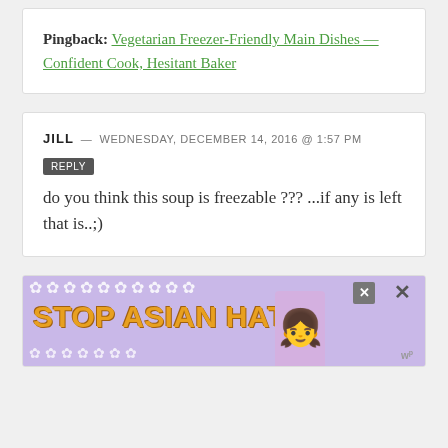Pingback: Vegetarian Freezer-Friendly Main Dishes — Confident Cook, Hesitant Baker
JILL — WEDNESDAY, DECEMBER 14, 2016 @ 1:57 PM
REPLY
do you think this soup is freezable ??? ...if any is left that is..;)
[Figure (other): Advertisement banner: 'STOP ASIAN HATE' with purple floral background and anime-style girl character, with close/X buttons and WordPress logo]